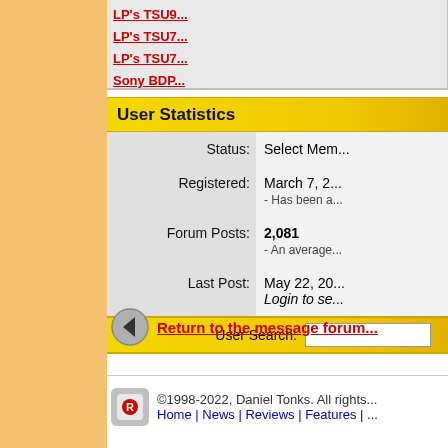LP's TSU9...
LP's TSU7...
LP's TSU7...
Sony BDP...
User Statistics
| Label | Value |
| --- | --- |
| Status: | Select Mem... |
| Registered: | March 7, 2...
- Has been a... |
| Forum Posts: | 2,081
- An average... |
| Last Post: | May 22, 20...
Login to se... |
User Search:
Return to the message forum...
©1998-2022, Daniel Tonks. All rights...
Home | News | Reviews | Features | ...